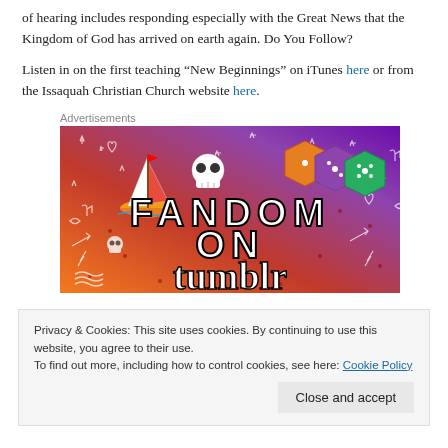of hearing includes responding especially with the Great News that the Kingdom of God has arrived on earth again. Do You Follow?
Listen in on the first teaching “New Beginnings” on iTunes here or from the Issaquah Christian Church website here.
Advertisements
[Figure (illustration): Colorful advertisement image with gradient background (orange to purple) showing 'FANDOM ON tumblr' text with cartoon doodles including a sailboat, skull, dice, music notes, and various symbols.]
Privacy & Cookies: This site uses cookies. By continuing to use this website, you agree to their use. To find out more, including how to control cookies, see here: Cookie Policy
Close and accept